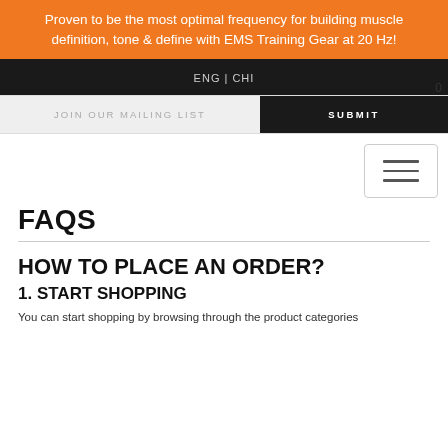Proven to be the most optimal frequency for building muscle definition, tone & define with EMS Training Gear at 20 Hz!
ENG | CHI
JOIN OUR MAILING LIST
SUBMIT
[Figure (other): Hamburger menu button with three horizontal bars]
FAQS
HOW TO PLACE AN ORDER?
1. START SHOPPING
You can start shopping by browsing through the product categories